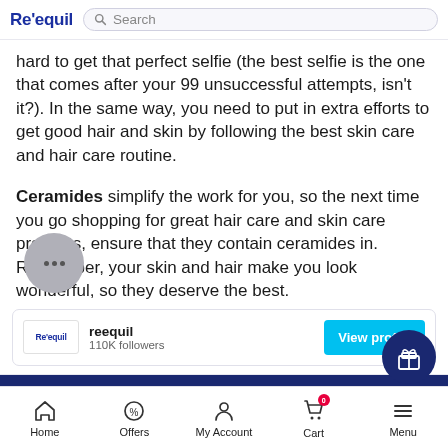Re'equil | Search
hard to get that perfect selfie (the best selfie is the one that comes after your 99 unsuccessful attempts, isn't it?). In the same way, you need to put in extra efforts to get good hair and skin by following the best skin care and hair care routine.
Ceramides simplify the work for you, so the next time you go shopping for great hair care and skin care products, ensure that they contain ceramides in. Remember, your skin and hair make you look wonderful, so they deserve the best.
reequil
110K followers
View profile
Read Related Blogs
Home | Offers | My Account | Cart | Menu